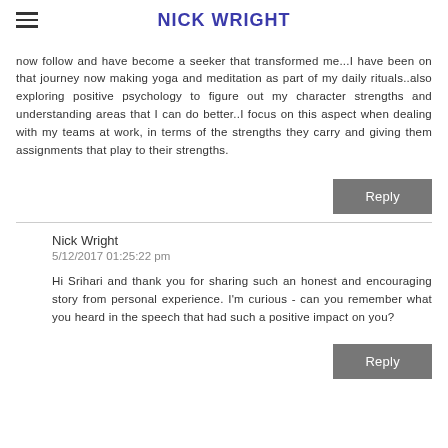NICK WRIGHT
now follow and have become a seeker that transformed me...I have been on that journey now making yoga and meditation as part of my daily rituals..also exploring positive psychology to figure out my character strengths and understanding areas that I can do better..I focus on this aspect when dealing with my teams at work, in terms of the strengths they carry and giving them assignments that play to their strengths.
Nick Wright
5/12/2017 01:25:22 pm

Hi Srihari and thank you for sharing such an honest and encouraging story from personal experience. I'm curious - can you remember what you heard in the speech that had such a positive impact on you?